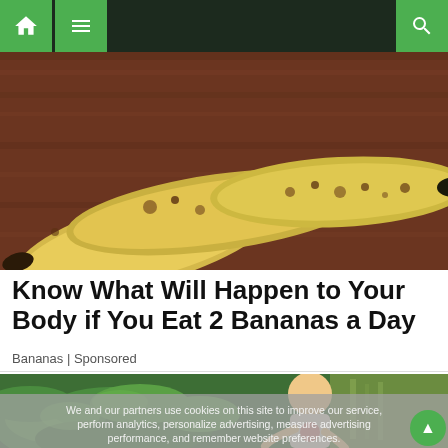Navigation bar with home, menu, and search icons
[Figure (photo): Three ripe bananas with brown spots lying on a wooden surface]
Know What Will Happen to Your Body if You Eat 2 Bananas a Day
Bananas | Sponsored
[Figure (photo): Fresh green spinach leaves with an illustration of a person holding their chest, and a cookie consent overlay reading: We and our partners use cookies on this site to improve our service, perform analytics, personalize advertising, measure advertising performance, and remember website preferences.]